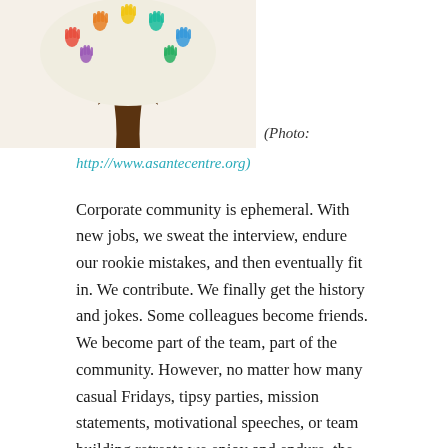[Figure (illustration): A tree with colorful handprints as leaves, illustrated in a community/diversity style, with a dark brown trunk on a light beige background.]
(Photo: http://www.asantecentre.org)
Corporate community is ephemeral. With new jobs, we sweat the interview, endure our rookie mistakes, and then eventually fit in. We contribute. We finally get the history and jokes. Some colleagues become friends. We become part of the team, part of the community. However, no matter how many casual Fridays, tipsy parties, mission statements, motivational speeches, or team building retreats we enjoy and endure, the boss is always the boss.
Sometimes the boss' decisions lead to radical policy shifts or dismissals. Unexpected, poorly communicated